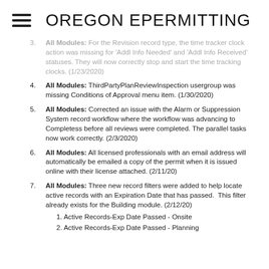OREGON EPERMITTING
All Modules: For the Revision record type, the time tracker clock action was missing for 'Addl Info Needed' and 'Addl Info Received' statuses. They will now correctly stop and start the time tracking clocks. (1/23/2020)
All Modules: ThirdPartyPlanReviewInspection usergroup was missing Conditions of Approval menu item. (1/30/2020)
All Modules: Corrected an issue with the Alarm or Suppression System record workflow where the workflow was advancing to Completess before all reviews were completed. The parallel tasks now work correctly. (2/3/2020)
All Modules: All licensed professionals with an email address will automatically be emailed a copy of the permit when it is issued online with their license attached. (2/11/20)
All Modules: Three new record filters were added to help locate active records with an Expiration Date that has passed. This filter already exists for the Building module. (2/12/20)
1. Active Records-Exp Date Passed - Onsite
2. Active Records-Exp Date Passed - Planning